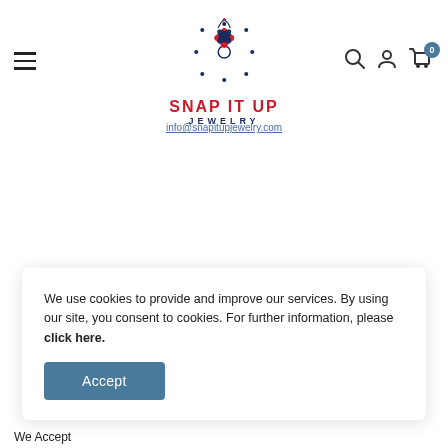[Figure (logo): Snap It Up Jewelry logo — decorative floral/snowflake motif in red and navy blue, with brand name SNAP IT UP in red bold uppercase and JEWELRY in navy blue small caps below]
info@snapitupjewelry.com
We use cookies to provide and improve our services. By using our site, you consent to cookies. For further information, please click here.
Accept
We Accept